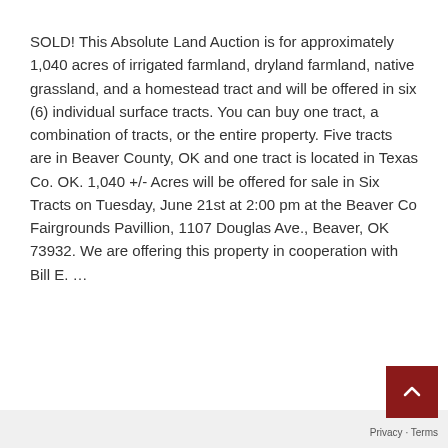SOLD! This Absolute Land Auction is for approximately 1,040 acres of irrigated farmland, dryland farmland, native grassland, and a homestead tract and will be offered in six (6) individual surface tracts. You can buy one tract, a combination of tracts, or the entire property. Five tracts are in Beaver County, OK and one tract is located in Texas Co. OK. 1,040 +/- Acres will be offered for sale in Six Tracts on Tuesday, June 21st at 2:00 pm at the Beaver Co Fairgrounds Pavillion, 1107 Douglas Ave., Beaver, OK 73932. We are offering this property in cooperation with Bill E. …
READ MORE